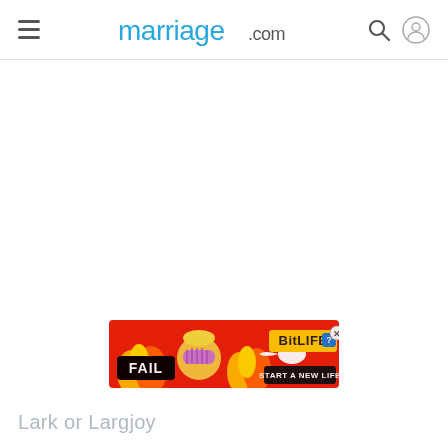marriage.com
[Figure (screenshot): White blank content area below the navigation header]
[Figure (illustration): BitLife advertisement banner with fire, cartoon character facepalming, FAIL text, sperm graphic and START A NEW LIFE text]
Lark or Largjoy
Last updated, or so some text probably reads here